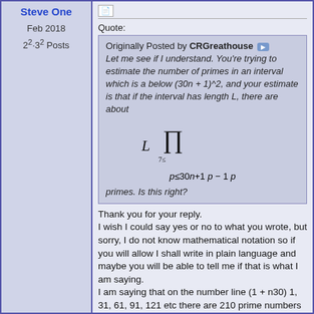Steve One
Feb 2018
2^2·3^2 Posts
Quote:
Originally Posted by CRGreathouse
Let me see if I understand. You're trying to estimate the number of primes in an interval which is a below (30n + 1)^2, and your estimate is that if the interval has length L, there are about
primes. Is this right?
Thank you for your reply.
I wish I could say yes or no to what you wrote, but sorry, I do not know mathematical notation so if you will allow I shall write in plain language and maybe you will be able to tell me if that is what I am saying.
I am saying that on the number line (1 + n30) 1, 31, 61, 91, 121 etc there are 210 prime numbers up to 121squared. This is